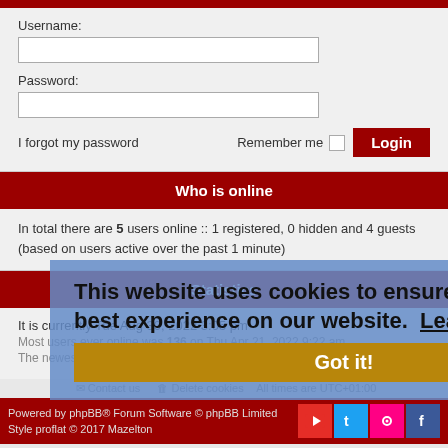[Figure (screenshot): Red top bar decoration]
Username:
Password:
I forgot my password
Remember me  Login
Who is online
In total there are 5 users online :: 1 registered, 0 hidden and 4 guests (based on users active over the past 1 minute)
Statistics
It is currently Tue Aug 30, 2022 3:05 pm
Most users ever online was 136 on Thu Apr 21, 2022 9:22 am
The newest member DaddyTats
Contact us  Delete cookies  All times are UTC+01:00
Powered by phpBB® Forum Software © phpBB Limited Style proflat © 2017 Mazelton
[Figure (infographic): Cookie consent banner overlay: 'This website uses cookies to ensure you get the best experience on our website. Learn more' with 'Got it!' button]